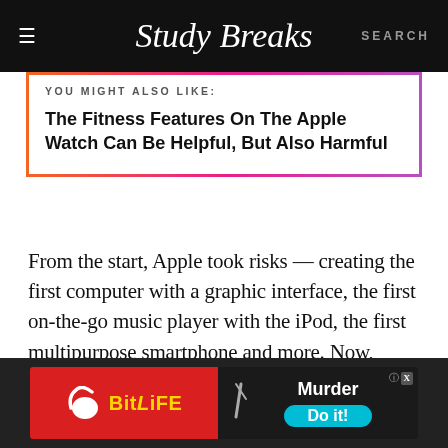Study Breaks — SEARCH
YOU MIGHT ALSO LIKE:
The Fitness Features On The Apple Watch Can Be Helpful, But Also Harmful
From the start, Apple took risks — creating the first computer with a graphic interface, the first on-the-go music player with the iPod, the first multipurpose smartphone and more. Now, however, Apple has taken a backseat to the inventing and
[Figure (screenshot): BitLife advertisement banner with red left panel showing BitLife logo and sperm icon, and dark right panel showing 'Murder Do it!' text on cyan button]